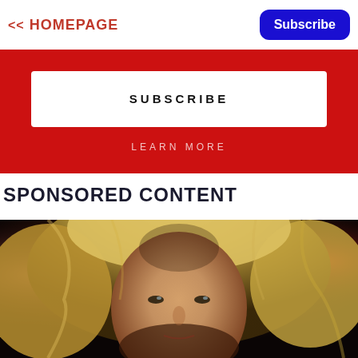<< HOMEPAGE
Subscribe
SUBSCRIBE
LEARN MORE
SPONSORED CONTENT
[Figure (photo): Close-up photo of a person with long wavy blonde hair, intense gaze, set against a blurred red and dark background.]